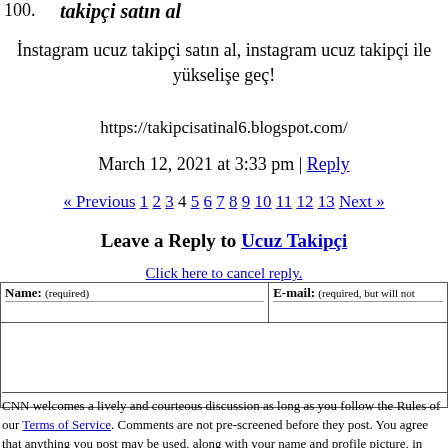100.
takipçi satın al
İnstagram ucuz takipçi satın al, instagram ucuz takipçi ile yükselişe geç!
https://takipcisatinal6.blogspot.com/
March 12, 2021 at 3:33 pm | Reply
« Previous 1 2 3 4 5 6 7 8 9 10 11 12 13 Next »
Leave a Reply to Ucuz Takipçi
Click here to cancel reply.
| Name: (required) | E-mail: (required, but will not be published) |
| --- | --- |
|  |  |
CNN welcomes a lively and courteous discussion as long as you follow the Rules of our Terms of Service. Comments are not pre-screened before they post. You agree that anything you post may be used, along with your name and profile picture, in accordance with our Privacy Policy and the license you have granted pursuant to our Terms of Service.